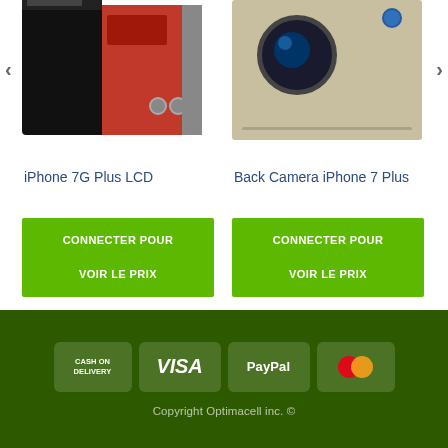[Figure (photo): iPhone 7G Plus LCD disassembled component showing black screen and red/grey internals]
[Figure (photo): Back Camera iPhone 7 Plus showing camera module with lens on silver/gold metal plate]
iPhone 7G Plus LCD
Back Camera iPhone 7 Plus
CONNECTER POUR
VOIR LE PRIX
CONNECTER POUR
VOIR LE PRIX
[Figure (infographic): Payment method icons: Cash on Delivery, VISA, PayPal, MasterCard on dark green background]
Copyright Optimacell inc. ©